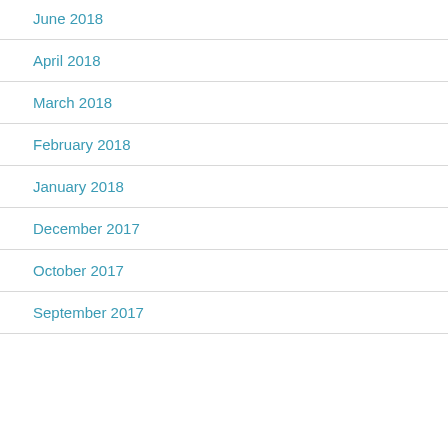June 2018
April 2018
March 2018
February 2018
January 2018
December 2017
October 2017
September 2017